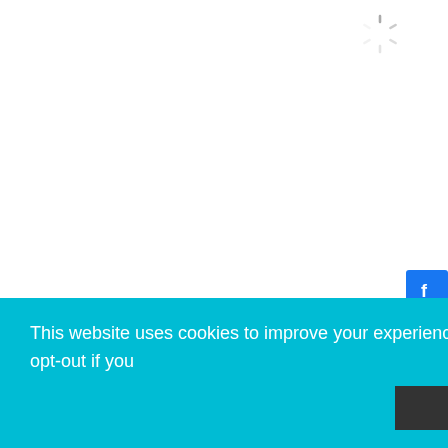[Figure (other): Loading spinner icon centered near top of page]
95% OFF UDEMY DISCOUNT COUPON & UDEMY PROMO CODE 2022,BEST UDEMY FREE COURSES 2022,GAME DEVELOPMENT,PROFESSIONAL UDEMY COURSES $10 | UDEMY DISCOUNT CODE & UDEMY DEALS,TECH AND PROGRMMING,UNITY DEVELOPMENT COURSE,UNITY GAME DEVELOPMENT COURSE
COMPLETE C# UNITY
This website uses cookies to improve your experience. We'll ass you're ok with this "Cookie settings", but you can opt-out if you
ACCEPT